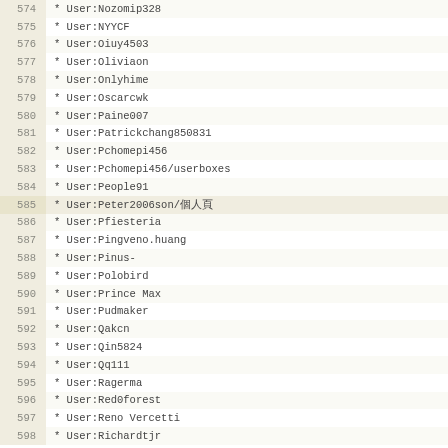574  * User:Nozomip328
575  * User:NYYCF
576  * User:Oiuy4503
577  * User:Oliviaon
578  * User:Onlyhime
579  * User:Oscarcwk
580  * User:Paine007
581  * User:Patrickchang850831
582  * User:Pchomepi456
583  * User:Pchomepi456/userboxes
584  * User:People91
585  * User:Peter2006son/個人頁
586  * User:Pfiesteria
587  * User:Pingveno.huang
588  * User:Pinus-
589  * User:Polobird
590  * User:Prince Max
591  * User:Pudmaker
592  * User:Qakcn
593  * User:Qin5824
594  * User:Qq111
595  * User:Ragerma
596  * User:Red0forest
597  * User:Reno Vercetti
598  * User:Richardtjr